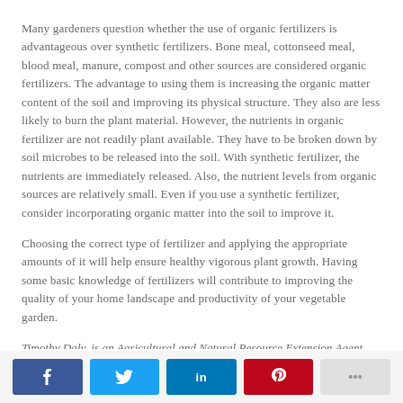Many gardeners question whether the use of organic fertilizers is advantageous over synthetic fertilizers. Bone meal, cottonseed meal, blood meal, manure, compost and other sources are considered organic fertilizers. The advantage to using them is increasing the organic matter content of the soil and improving its physical structure. They also are less likely to burn the plant material. However, the nutrients in organic fertilizer are not readily plant available. They have to be broken down by soil microbes to be released into the soil. With synthetic fertilizer, the nutrients are immediately released. Also, the nutrient levels from organic sources are relatively small. Even if you use a synthetic fertilizer, consider incorporating organic matter into the soil to improve it.
Choosing the correct type of fertilizer and applying the appropriate amounts of it will help ensure healthy vigorous plant growth. Having some basic knowledge of fertilizers will contribute to improving the quality of your home landscape and productivity of your vegetable garden.
Timothy Daly, is an Agricultural and Natural Resource Extension Agent with Gwinnett County. He can be contacted at 678-377-4010 or tdaly@uga.edu
Social share bar: Facebook, Twitter, LinkedIn, Pinterest, More